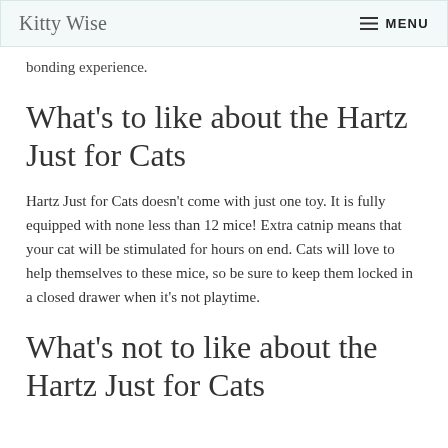Kitty Wise   ☰ MENU
bonding experience.
What's to like about the Hartz Just for Cats
Hartz Just for Cats doesn't come with just one toy. It is fully equipped with none less than 12 mice! Extra catnip means that your cat will be stimulated for hours on end. Cats will love to help themselves to these mice, so be sure to keep them locked in a closed drawer when it's not playtime.
What's not to like about the Hartz Just for Cats